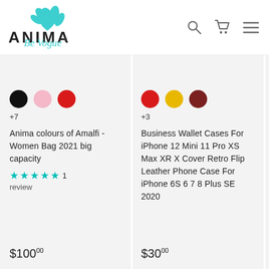[Figure (logo): Anima Be Vogue logo with teal leaf/flower design above the brand name]
[Figure (infographic): Product listing card 1: Anima colours of Amalfi Women Bag with color swatches (black, pink, red), +7 more, 1 review, $100.00]
[Figure (infographic): Product listing card 2: Business Wallet Cases For iPhone 12 Mini 11 Pro XS Max XR X Cover Retro Flip Leather Phone Case For iPhone 6S 6 7 8 Plus SE 2020, color swatches (red, gold, maroon) +3 more, $30.00]
[Figure (infographic): Partial product listing card 3 (cropped): Case Mini 1 Pro XS Cover Natur Came Wirele Case, $34.00]